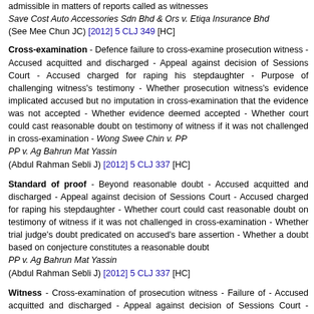admissible in matters of reports called as witnesses Save Cost Auto Accessories Sdn Bhd & Ors v. Etiqa Insurance Bhd (See Mee Chun JC) [2012] 5 CLJ 349 [HC]
Cross-examination - Defence failure to cross-examine prosecution witness - Accused acquitted and discharged - Appeal against decision of Sessions Court - Accused charged for raping his stepdaughter - Purpose of challenging witness's testimony - Whether prosecution witness's evidence implicated accused but no imputation in cross-examination that the evidence was not accepted - Whether evidence deemed accepted - Whether court could cast reasonable doubt on testimony of witness if it was not challenged in cross-examination - Wong Swee Chin v. PP PP v. Ag Bahrun Mat Yassin (Abdul Rahman Sebli J) [2012] 5 CLJ 337 [HC]
Standard of proof - Beyond reasonable doubt - Accused acquitted and discharged - Appeal against decision of Sessions Court - Accused charged for raping his stepdaughter - Whether court could cast reasonable doubt on testimony of witness if it was not challenged in cross-examination - Whether trial judge's doubt predicated on accused's bare assertion - Whether a doubt based on conjecture constitutes a reasonable doubt PP v. Ag Bahrun Mat Yassin (Abdul Rahman Sebli J) [2012] 5 CLJ 337 [HC]
Witness - Cross-examination of prosecution witness - Failure of - Accused acquitted and discharged - Appeal against decision of Sessions Court - Accused charged for raping his stepdaughter - Purpose of challenging witness's testimony - Whether prosecution witness's evidence implicated accused but no